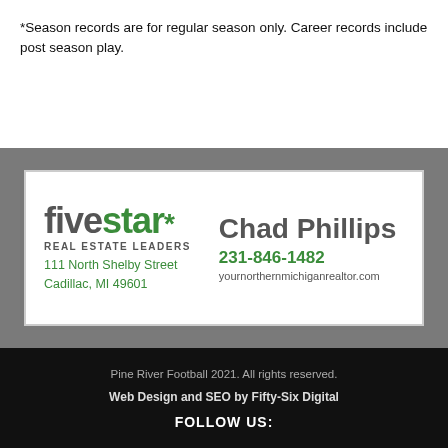*Season records are for regular season only. Career records include post season play.
[Figure (illustration): Five Star Real Estate Leaders advertisement featuring Chad Phillips. Logo with 'five star*' in gray and green, 'REAL ESTATE LEADERS' subtitle, address '111 North Shelby Street, Cadillac, MI 49601', phone '231-846-1482', website 'yournorthernmichiganrealtor.com']
Pine River Football 2021. All rights reserved.
Web Design and SEO by Fifty-Six Digital
FOLLOW US: